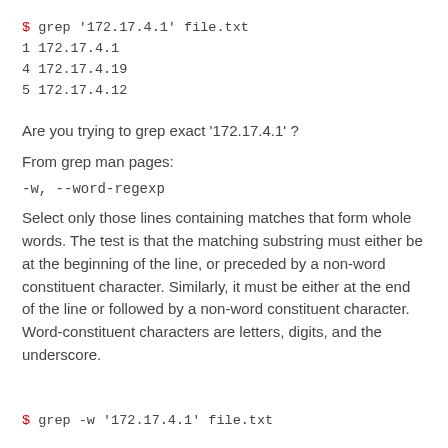$ grep '172.17.4.1' file.txt
1 172.17.4.1
4 172.17.4.19
5 172.17.4.12
Are you trying to grep exact '172.17.4.1' ?
From grep man pages:
-w, --word-regexp
Select only those lines containing matches that form whole words. The test is that the matching substring must either be at the beginning of the line, or preceded by a non-word constituent character. Similarly, it must be either at the end of the line or followed by a non-word constituent character. Word-constituent characters are letters, digits, and the underscore.
$ grep -w '172.17.4.1' file.txt